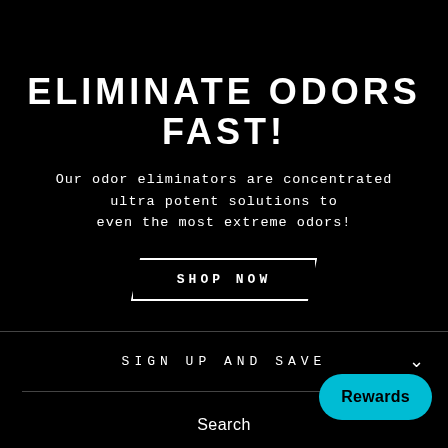ELIMINATE ODORS FAST!
Our odor eliminators are concentrated ultra potent solutions to even the most extreme odors!
SHOP NOW
SIGN UP AND SAVE
Search
Contact us
MSDS
Rewards